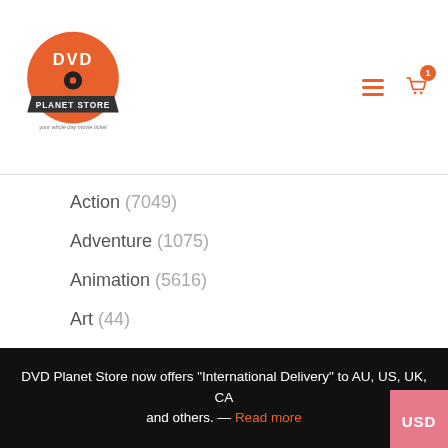[Figure (logo): DVD Planet Store logo — orange circle with DVD disc and store name banner, tagline: your whole day movie ticket]
Action (7049)
Adventure (1075)
Animation (5616)
Art (44)
Astrology & Space (42)
Biography (54)
Body & Mind (36)
Comedy (15559)
Crime (1631)
DVD Planet Store now offers "International Delivery" to AU, US, UK, CA and others. — Read more